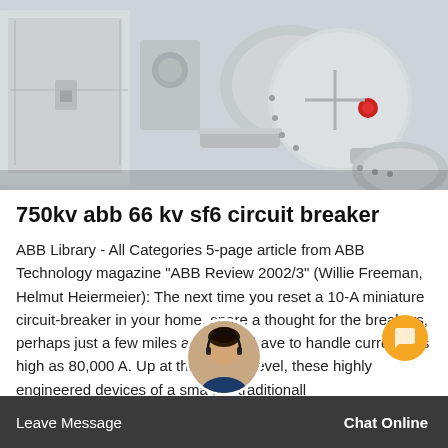[Figure (photo): Industrial high-voltage circuit breaker equipment, showing large spherical SF6 gas-insulated components with a red indicator dot, and a metal cabinet enclosure. The equipment appears to be outdoor substation switchgear.]
750kv abb 66 kv sf6 circuit breaker
ABB Library - All Categories 5-page article from ABB Technology magazine "ABB Review 2002/3" (Willie Freeman, Helmut Heiermeier): The next time you reset a 10-A miniature circuit-breaker in your home, spare a thought for the breakers, perhaps just a few miles away, that have to handle currents as high as 80,000 A. Up at the 245-kV level, these highly engineered devices of a sma are traditionall
Leave Message  Chat Online